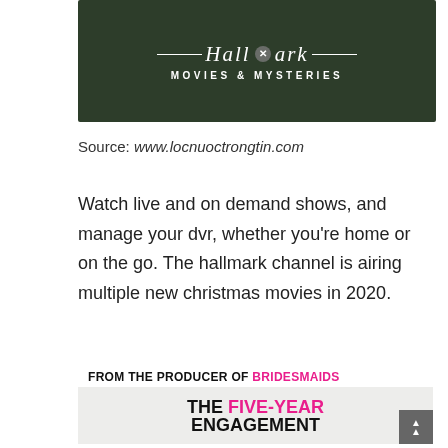[Figure (photo): Hallmark Movies & Mysteries channel logo/banner with dark green background and white logo text]
Source: www.locnuoctrongtin.com
Watch live and on demand shows, and manage your dvr, whether you're home or on the go. The hallmark channel is airing multiple new christmas movies in 2020.
[Figure (photo): Movie promotional image: FROM THE PRODUCER OF BRIDESMAIDS - THE FIVE-YEAR ENGAGEMENT, with cast photo below]